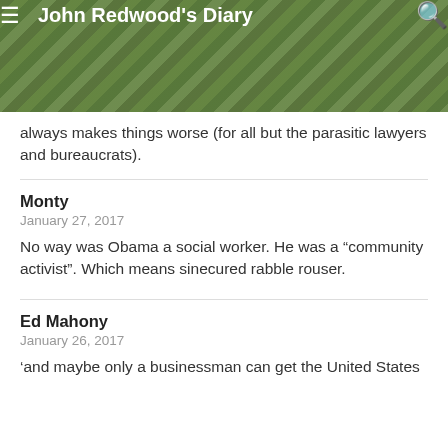John Redwood's Diary
always makes things worse (for all but the parasitic lawyers and bureaucrats).
Monty
January 27, 2017
No way was Obama a social worker. He was a “community activist”. Which means sinecured rabble rouser.
Ed Mahony
January 26, 2017
‘and maybe only a businessman can get the United States